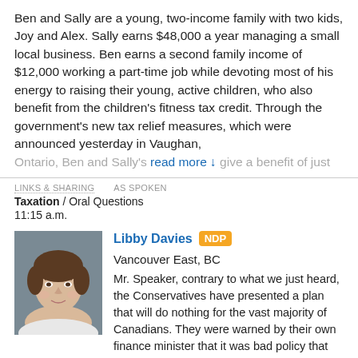Ben and Sally are a young, two-income family with two kids, Joy and Alex. Sally earns $48,000 a year managing a small local business. Ben earns a second family income of $12,000 working a part-time job while devoting most of his energy to raising their young, active children, who also benefit from the children's fitness tax credit. Through the government's new tax relief measures, which were announced yesterday in Vaughan, Ontario, Ben and Sally's ... read more ↓ ...give a benefit of just
LINKS & SHARING   AS SPOKEN
Taxation / Oral Questions
11:15 a.m.
[Figure (photo): Headshot photo of Libby Davies, a middle-aged woman with short brown hair, wearing a light top, against a grey background.]
Libby Davies NDP Vancouver East, BC
Mr. Speaker, contrary to what we just heard, the Conservatives have presented a plan that will do nothing for the vast majority of Canadians. They were warned by their own finance minister that it was bad policy that would increase inequality, but yesterday they announced that